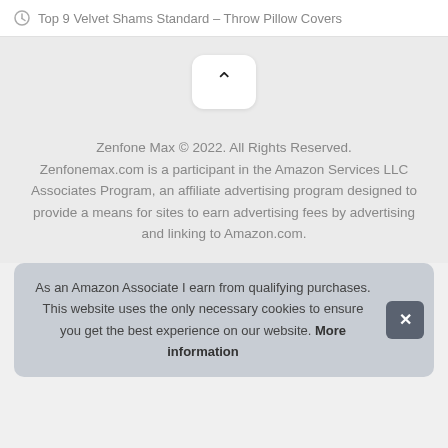Top 9 Velvet Shams Standard – Throw Pillow Covers
Zenfone Max © 2022. All Rights Reserved. Zenfonemax.com is a participant in the Amazon Services LLC Associates Program, an affiliate advertising program designed to provide a means for sites to earn advertising fees by advertising and linking to Amazon.com.
As an Amazon Associate I earn from qualifying purchases. This website uses the only necessary cookies to ensure you get the best experience on our website. More information